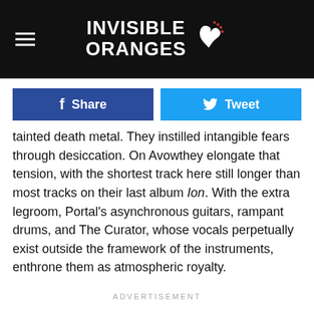INVISIBLE ORANGES
Share | Tweet
tainted death metal. They instilled intangible fears through desiccation. On Avowthey elongate that tension, with the shortest track here still longer than most tracks on their last album Ion. With the extra legroom, Portal's asynchronous guitars, rampant drums, and The Curator, whose vocals perpetually exist outside the framework of the instruments, enthrone them as atmospheric royalty.
ADVERTISEMENT